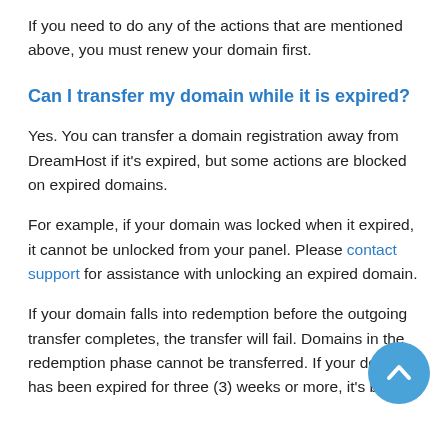If you need to do any of the actions that are mentioned above, you must renew your domain first.
Can I transfer my domain while it is expired?
Yes. You can transfer a domain registration away from DreamHost if it's expired, but some actions are blocked on expired domains.
For example, if your domain was locked when it expired, it cannot be unlocked from your panel. Please contact support for assistance with unlocking an expired domain.
If your domain falls into redemption before the outgoing transfer completes, the transfer will fail. Domains in the redemption phase cannot be transferred. If your domain has been expired for three (3) weeks or more, it's best to